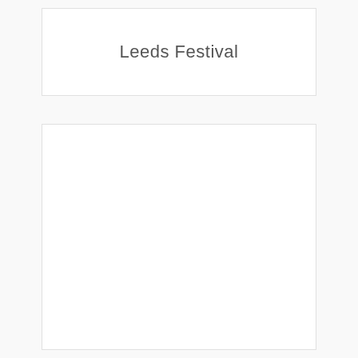Leeds Festival
[Figure (other): Empty white box/placeholder region below the title]